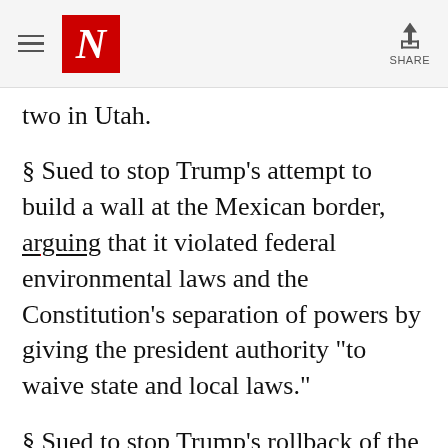N | SHARE
two in Utah.
§ Sued to stop Trump's attempt to build a wall at the Mexican border, arguing that it violated federal environmental laws and the Constitution's separation of powers by giving the president authority “to waive state and local laws.”
§ Sued to stop Trump's rollback of the Affordable Care Act's requirement that employers cover contraceptives as part of their employees’ health insurance. The rollback, the suit charged, effectively created